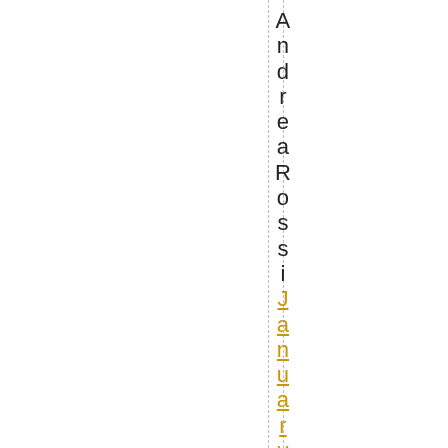Andrea Rossi January 13, 2019 at 1
[Figure (other): Two vertical dashed lines running the full height of the page]